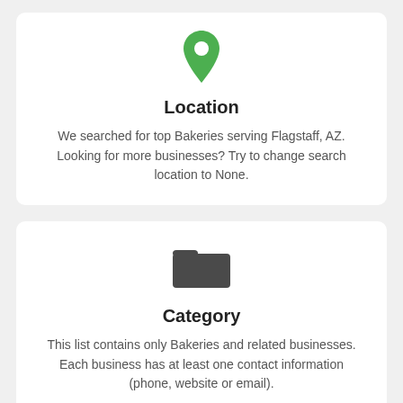[Figure (illustration): Green map pin / location marker icon]
Location
We searched for top Bakeries serving Flagstaff, AZ. Looking for more businesses? Try to change search location to None.
[Figure (illustration): Dark grey folder icon]
Category
This list contains only Bakeries and related businesses. Each business has at least one contact information (phone, website or email).